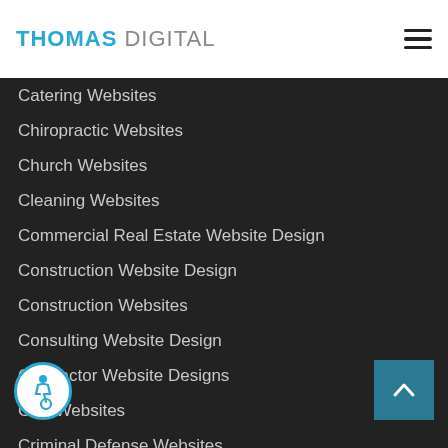THOMAS DIGITAL
Catering Websites
Chiropractic Websites
Church Websites
Cleaning Websites
Commercial Real Estate Website Design
Construction Website Design
Construction Websites
Consulting Website Design
Contractor Website Designs
CPA Websites
Criminal Defense Websites
Dental Websites
Dermatologist Websites
Doctor Web Design
DUI Websites
Family Law Websites